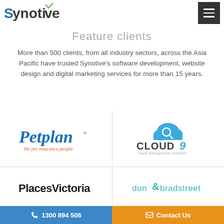Synotive
Feature clients
More than 500 clients, from all industry sectors, across the Asia Pacific have trusted Synotive's software development, website design and digital marketing services for more than 15 years.
[Figure (logo): Petplan logo — the pet insurance people]
[Figure (logo): Cloud9 Travel Management Software logo]
[Figure (logo): Places Victoria logo]
[Figure (logo): Dun & Bradstreet logo]
1300 894 506 | Contact Us